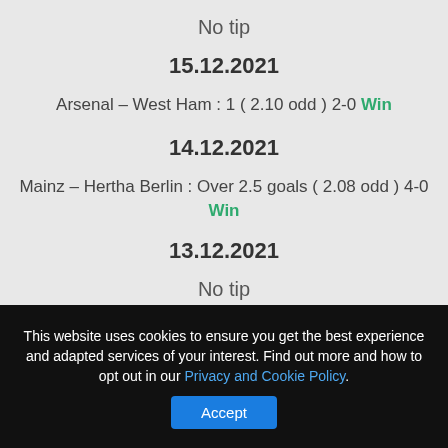No tip
15.12.2021
Arsenal – West Ham : 1 ( 2.10 odd ) 2-0 Win
14.12.2021
Mainz – Hertha Berlin : Over 2.5 goals ( 2.08 odd ) 4-0 Win
13.12.2021
No tip
This website uses cookies to ensure you get the best experience and adapted services of your interest. Find out more and how to opt out in our Privacy and Cookie Policy.